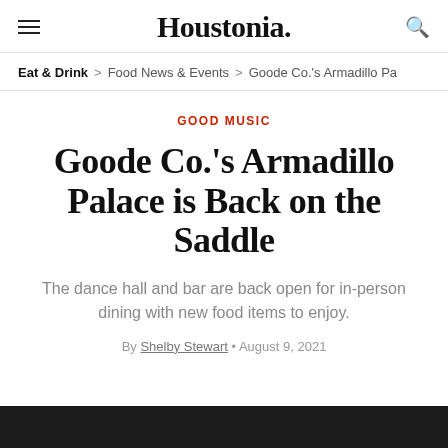Houstonia.
Eat & Drink > Food News & Events > Goode Co.'s Armadillo Pa
GOOD MUSIC
Goode Co.'s Armadillo Palace is Back on the Saddle
The dance hall and bar are back open for in-person dining with new food items to enjoy.
By Shelby Stewart • August 9, 2021
[Figure (photo): Bottom strip of a photo, partially visible at the bottom of the page]